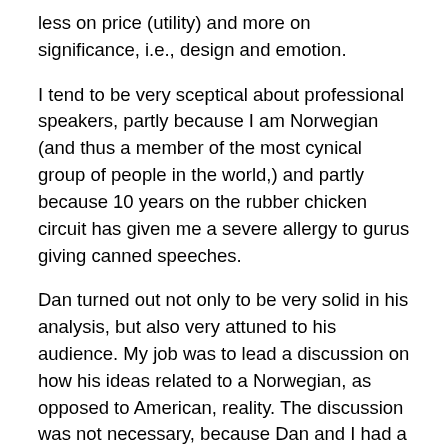less on price (utility) and more on significance, i.e., design and emotion.
I tend to be very sceptical about professional speakers, partly because I am Norwegian (and thus a member of the most cynical group of people in the world,) and partly because 10 years on the rubber chicken circuit has given me a severe allergy to gurus giving canned speeches.
Dan turned out not only to be very solid in his analysis, but also very attuned to his audience. My job was to lead a discussion on how his ideas related to a Norwegian, as opposed to American, reality. The discussion was not necessary, because Dan and I had a couple of conversations beforehand and he took the trouble to not only read the stuff about Norway I sent him, but very carefully tailor his talk so that language and examples